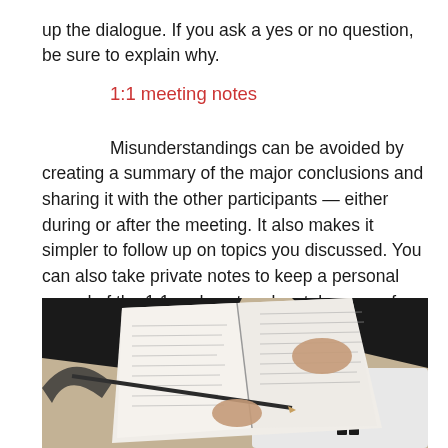up the dialogue. If you ask a yes or no question, be sure to explain why.
1:1 meeting notes
Misunderstandings can be avoided by creating a summary of the major conclusions and sharing it with the other participants — either during or after the meeting. It also makes it simpler to follow up on topics you discussed. You can also take private notes to keep a personal record of the 1:1 and capture key takeaways for future reference.
[Figure (photo): Overhead view of a person's hands holding an open notebook/journal with handwritten text on a desk, with a pencil, protractor, and a white Microsoft Surface device visible.]